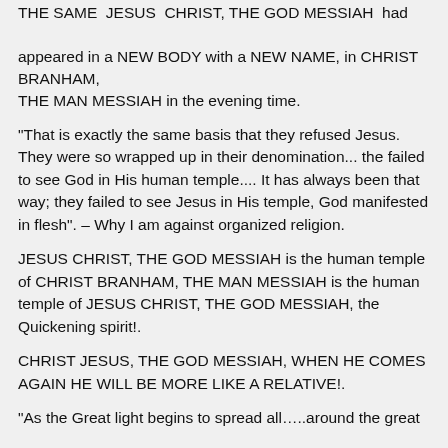THE SAME  JESUS  CHRIST, THE GOD MESSIAH  had appeared in a NEW BODY with a NEW NAME, in CHRIST BRANHAM, THE MAN MESSIAH in the evening time.
“That is exactly the same basis that they refused Jesus. They were so wrapped up in their denomination... the failed to see God in His human temple.... It has always been that way; they failed to see Jesus in His temple, God manifested in flesh”. – Why I am against organized religion.
JESUS CHRIST, THE GOD MESSIAH is the human temple of CHRIST BRANHAM, THE MAN MESSIAH is the human temple of JESUS CHRIST, THE GOD MESSIAH, the Quickening spirit!.
CHRIST JESUS, THE GOD MESSIAH, WHEN HE COMES AGAIN HE WILL BE MORE LIKE A RELATIVE!.
“As the Great light begins to spread all…..around the great